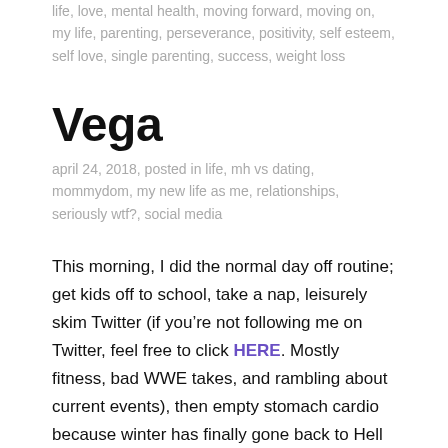life, love, mental health, moving forward, moving on, my life, parenting, perseverance, positivity, self esteem, self love, single parenting, success, weight loss
Vega
april 24, 2018, posted in life, mh vs dating, mommydom, my new life as me, relationships, seriously wtf?, social media
This morning, I did the normal day off routine; get kids off to school, take a nap, leisurely skim Twitter (if you’re not following me on Twitter, feel free to click HERE. Mostly fitness, bad WWE takes, and rambling about current events), then empty stomach cardio because winter has finally gone back to Hell where it belongs. Anywho, this morning, one of the trending topics was from a man giving real life “love advice.” It was obviously so great and not at all terrible. Here, let